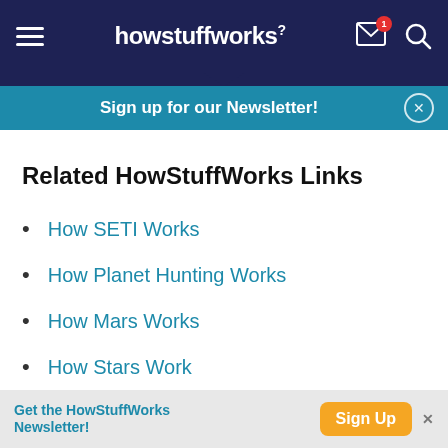howstuffworks
Sign up for our Newsletter!
Related HowStuffWorks Links
How SETI Works
How Planet Hunting Works
How Mars Works
How Stars Work
How Cells Work
How Your Heart Works
How Blood Works
Get the HowStuffWorks Newsletter! Sign Up